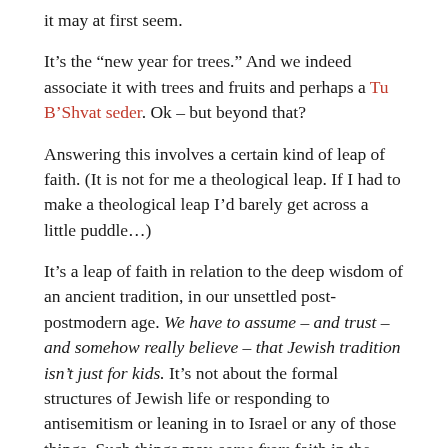it may at first seem.
It's the “new year for trees.” And we indeed associate it with trees and fruits and perhaps a Tu B’Shvat seder. Ok – but beyond that?
Answering this involves a certain kind of leap of faith. (It is not for me a theological leap. If I had to make a theological leap I’d barely get across a little puddle…)
It’s a leap of faith in relation to the deep wisdom of an ancient tradition, in our unsettled post-postmodern age. We have to assume – and trust – and somehow really believe – that Jewish tradition isn’t just for kids. It’s not about the formal structures of Jewish life or responding to antisemitism or leaning in to Israel or any of those things. Such things may come from faith in the wisdom of Jewish tradition, but they can’t drive it. When they do our soil becomes depleted and we use the equivalent of pesticides or other interventions as a quick fix; and, as we are all learning, quick fixes like that don’t actually work.
But if we do trust that the tradition is wise, then we have to